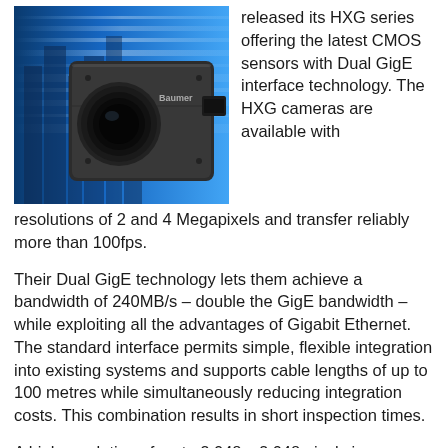[Figure (photo): Industrial machine vision camera (dark grey box camera with circular lens) against a blue abstract background with motion blur streaks suggesting speed. Brand appears to be Baumer.]
released its HXG series offering the latest CMOS sensors with Dual GigE interface technology. The HXG cameras are available with resolutions of 2 and 4 Megapixels and transfer reliably more than 100fps.
Their Dual GigE technology lets them achieve a bandwidth of 240MB/s – double the GigE bandwidth – while exploiting all the advantages of Gigabit Ethernet. The standard interface permits simple, flexible integration into existing systems and supports cable lengths of up to 100 metres while simultaneously reducing integration costs. This combination results in short inspection times.
A high resolution of up to 2,048 x 2,048 pixels is provided. The global shutter sensor from Cmosis with Correlated Double Sampling (CDS) guarantees sharp images and low readout noise for precise